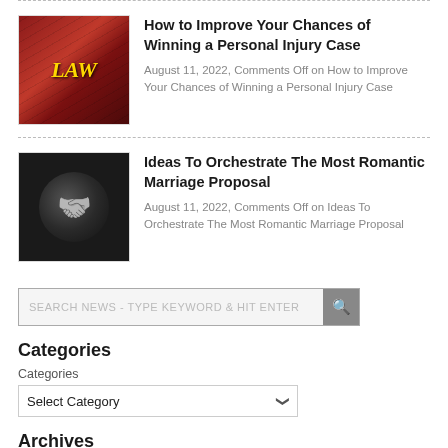[Figure (photo): Book cover with 'LAW' text in gold on red background]
How to Improve Your Chances of Winning a Personal Injury Case
August 11, 2022, Comments Off on How to Improve Your Chances of Winning a Personal Injury Case
[Figure (photo): Black and white photo of hands clasped together (marriage/rings)]
Ideas To Orchestrate The Most Romantic Marriage Proposal
August 11, 2022, Comments Off on Ideas To Orchestrate The Most Romantic Marriage Proposal
SEARCH NEWS - TYPE KEYWORD & HIT ENTER
Categories
Categories
Select Category
Archives
Archives
Select Month